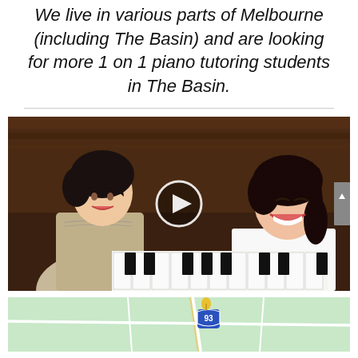We live in various parts of Melbourne (including The Basin) and are looking for more 1 on 1 piano tutoring students in The Basin.
[Figure (photo): A woman and a young girl at an upright piano. The woman is on the left, smiling and looking at the girl who is playing. The girl on the right is smiling broadly. A circular play button overlay is centered on the image, indicating this is a video thumbnail.]
[Figure (map): A partial map showing a green/light-colored road map with route 93 shield visible, showing the Melbourne/The Basin area in Australia.]